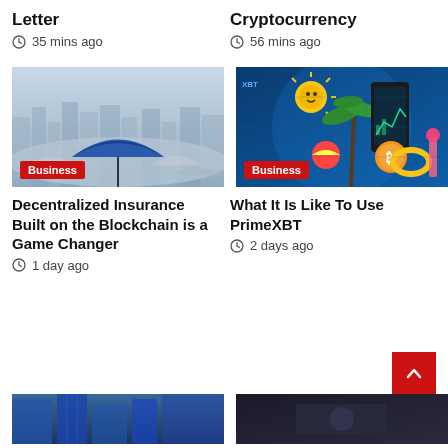Letter
35 mins ago
Cryptocurrency
56 mins ago
[Figure (photo): Blue umbrella in foreground among many grey/white umbrellas with city skyline in background, Business tag]
[Figure (photo): Colorful crypto-themed illustration with sun emoji, palm tree, smartphone with charts, Bitcoin coin, beach toys, Business tag]
Decentralized Insurance Built on the Blockchain is a Game Changer
1 day ago
What It Is Like To Use PrimeXBT
2 days ago
[Figure (photo): Partial bottom image left - blue tinted building]
[Figure (photo): Partial bottom image right - dark toned image]